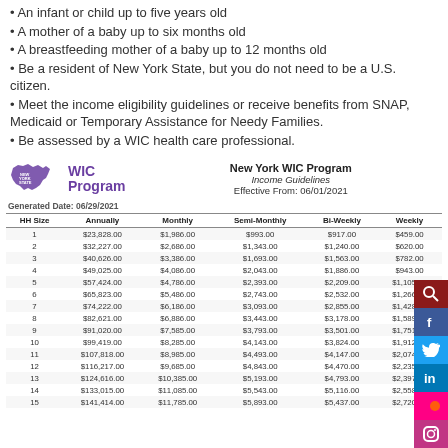An infant or child up to five years old
A mother of a baby up to six months old
A breastfeeding mother of a baby up to 12 months old
Be a resident of New York State, but you do not need to be a U.S. citizen.
Meet the income eligibility guidelines or receive benefits from SNAP, Medicaid or Temporary Assistance for Needy Families.
Be assessed by a WIC health care professional.
[Figure (logo): New York State WIC Program logo with NY state outline]
New York WIC Program
Income Guidelines
Effective From: 06/01/2021
Generated Date: 06/29/2021
| HH Size | Annually | Monthly | Semi-Monthly | Bi-Weekly | Weekly |
| --- | --- | --- | --- | --- | --- |
| 1 | $23,828.00 | $1,986.00 | $993.00 | $917.00 | $459.00 |
| 2 | $32,227.00 | $2,686.00 | $1,343.00 | $1,240.00 | $620.00 |
| 3 | $40,626.00 | $3,386.00 | $1,693.00 | $1,563.00 | $782.00 |
| 4 | $49,025.00 | $4,086.00 | $2,043.00 | $1,886.00 | $943.00 |
| 5 | $57,424.00 | $4,786.00 | $2,393.00 | $2,209.00 | $1,105.00 |
| 6 | $65,823.00 | $5,486.00 | $2,743.00 | $2,532.00 | $1,266.00 |
| 7 | $74,222.00 | $6,186.00 | $3,093.00 | $2,855.00 | $1,428.00 |
| 8 | $82,621.00 | $6,886.00 | $3,443.00 | $3,178.00 | $1,589.00 |
| 9 | $91,020.00 | $7,585.00 | $3,793.00 | $3,501.00 | $1,751.00 |
| 10 | $99,419.00 | $8,285.00 | $4,143.00 | $3,824.00 | $1,912.00 |
| 11 | $107,818.00 | $8,985.00 | $4,493.00 | $4,147.00 | $2,074.00 |
| 12 | $116,217.00 | $9,685.00 | $4,843.00 | $4,470.00 | $2,235.00 |
| 13 | $124,616.00 | $10,385.00 | $5,193.00 | $4,793.00 | $2,397.00 |
| 14 | $133,015.00 | $11,085.00 | $5,543.00 | $5,116.00 | $2,558.00 |
| 15 | $141,414.00 | $11,785.00 | $5,893.00 | $5,437.00 | $2,720.00 |